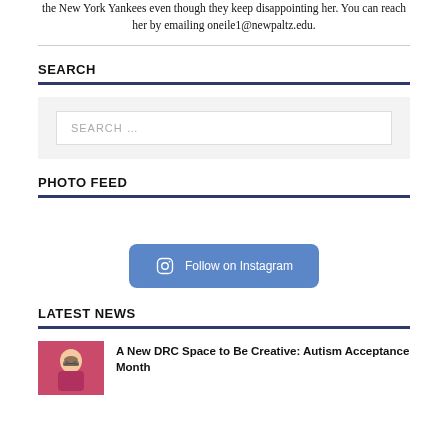the New York Yankees even though they keep disappointing her. You can reach her by emailing oneile1@newpaltz.edu.
SEARCH
[Figure (screenshot): Search input box with placeholder text 'SEARCH ...' inside a light grey container]
PHOTO FEED
[Figure (other): Follow on Instagram button with Instagram icon, rounded blue button]
LATEST NEWS
[Figure (photo): Small thumbnail image with red/pink background showing a person wearing glasses]
A New DRC Space to Be Creative: Autism Acceptance Month